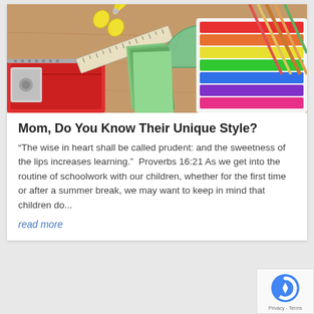[Figure (photo): School supplies on a wooden desk: scissors, ruler, protractor, colored pencils, modeling clay, and stationery items arranged colorfully.]
Mom, Do You Know Their Unique Style?
“The wise in heart shall be called prudent: and the sweetness of the lips increases learning.”  Proverbs 16:21 As we get into the routine of schoolwork with our children, whether for the first time or after a summer break, we may want to keep in mind that children do...
read more